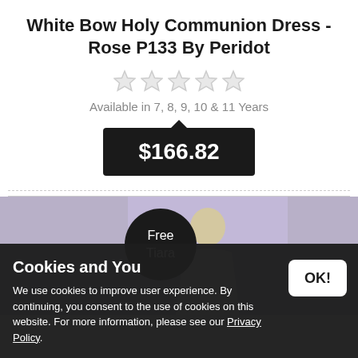White Bow Holy Communion Dress - Rose P133 By Peridot
Available in 7, 8, 9, 10 & 11 Years
$166.82
[Figure (illustration): Dark circular badge with 'Free Tiara' text overlaying product image of a girl in white communion dress with purple/lavender background]
Cookies and You
We use cookies to improve user experience. By continuing, you consent to the use of cookies on this website. For more information, please see our Privacy Policy.